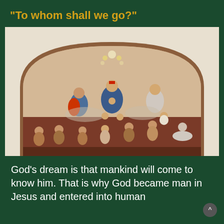“To whom shall we go?”
[Figure (photo): A religious painting in an arched frame showing the Virgin Mary holding the Christ child surrounded by angels in the upper half, and several souls or figures below looking upward, in a Baroque style.]
God’s dream is that mankind will come to know him. That is why God became man in Jesus and entered into human